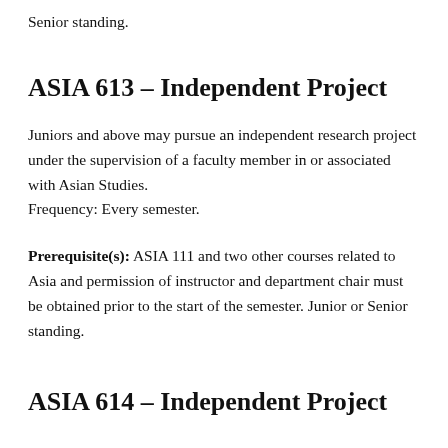Senior standing.
ASIA 613 – Independent Project
Juniors and above may pursue an independent research project under the supervision of a faculty member in or associated with Asian Studies.
Frequency: Every semester.
Prerequisite(s): ASIA 111 and two other courses related to Asia and permission of instructor and department chair must be obtained prior to the start of the semester. Junior or Senior standing.
ASIA 614 – Independent Project